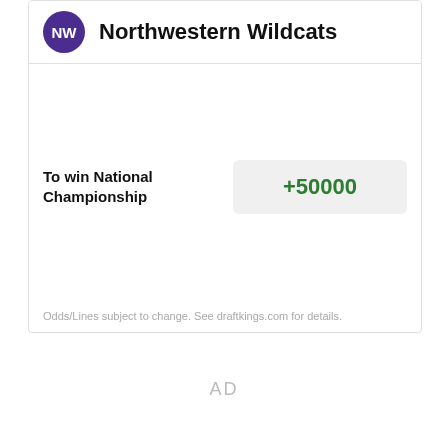Northwestern Wildcats
To win National Championship
+50000
Odds/Lines subject to change. See draftkings.com for details.
AD